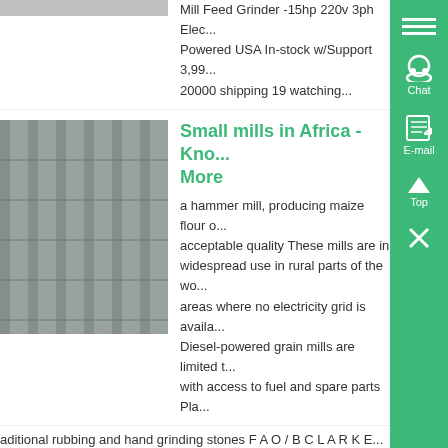Mill Feed Grinder -15hp 220v 3ph Elec... Powered USA In-stock w/Support 3,99... 20000 shipping 19 watching...
Small mills in Africa - Kno... More
a hammer mill, producing maize flour o... acceptable quality These mills are in widespread use in rural parts of the wo... areas where no electricity grid is availa... Diesel-powered grain mills are limited t... with access to fuel and spare parts Pla...
aditional rubbing and hand grinding stones F A O / B C L A R K E...
Used Hammer Mills Buy S... Used Mills - Know More
Used- Bliss Eliminator Hammer Mill, M... 4430 TF, Carbon Steel 44 Diameter x 3... 96 Approximate 6 long x 1/4 thick swin... hammers Driven by a 250 hp, 3/60/460...
[Figure (photo): Partial image of a mill or grinder at top of page]
[Figure (photo): Close-up photo of hammer mill screen/grate, showing metal bars/slats]
[Figure (photo): Photo of industrial hammer mill equipment in a large facility]